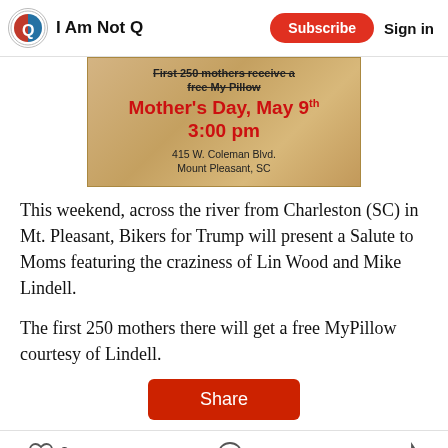I Am Not Q | Subscribe | Sign in
[Figure (infographic): Event banner with parchment/tan background. Text: 'First 250 mothers receive a free My Pillow' (struck through), 'Mother's Day, May 9th 3:00 pm' in large red bold text, '415 W. Coleman Blvd. Mount Pleasant, SC' in small black text.]
This weekend, across the river from Charleston (SC) in Mt. Pleasant, Bikers for Trump will present a Salute to Moms featuring the craziness of Lin Wood and Mike Lindell.
The first 250 mothers there will get a free MyPillow courtesy of Lindell.
Share
2 [heart icon] [comment icon] [share icon]